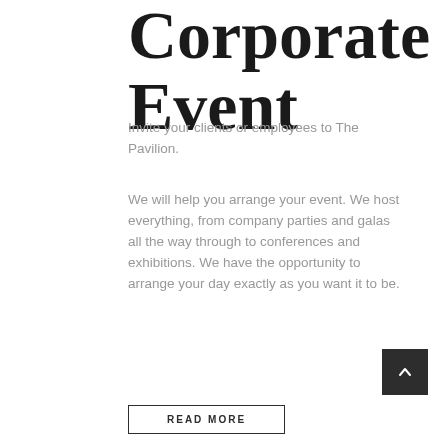Corporate Event
Invite your clients or employees to The Pavilion.
We will help you arrange your event. We host everything, from company parties and galas all the way through to conferences and exhibitions. We have the opportunity to arrange your day exactly as you want it to be.
READ MORE